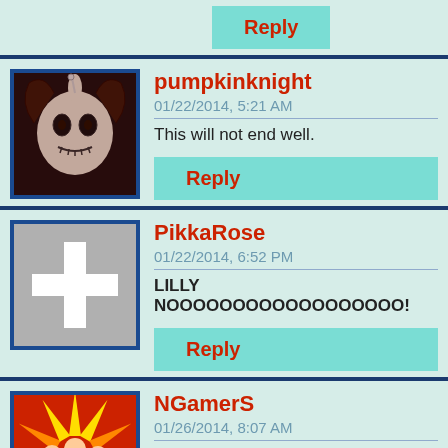[Figure (other): Reply button (teal/cyan background, red text)]
[Figure (photo): Avatar of pumpkinknight: Jack Skellington character in dark red/black tones]
pumpkinknight
01/22/2014, 5:21 AM
This will not end well.
[Figure (other): Reply button (teal/cyan background, red text)]
[Figure (illustration): Avatar of PikkaRose: gray placeholder with white plus symbol, blue border]
PikkaRose
01/22/2014, 6:52 PM
LILLY NOOOOOOOOOOOOOOOOOO!
[Figure (other): Reply button (teal/cyan background, red text)]
[Figure (illustration): Avatar of NGamerS: cartoon characters on colorful sunburst background]
NGamerS
01/26/2014, 8:07 AM
Tenoreo???
[Figure (other): Reply button (teal/cyan background, red text)]